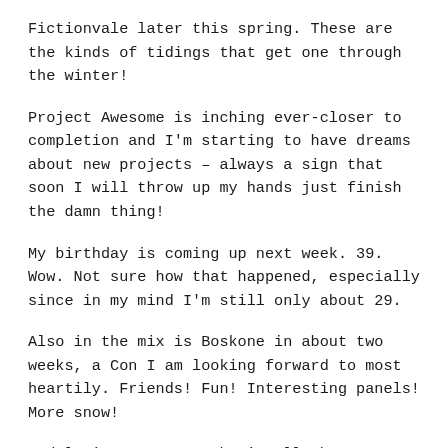Fictionvale later this spring. These are the kinds of tidings that get one through the winter!
Project Awesome is inching ever-closer to completion and I'm starting to have dreams about new projects – always a sign that soon I will throw up my hands just finish the damn thing!
My birthday is coming up next week. 39. Wow. Not sure how that happened, especially since in my mind I'm still only about 29.
Also in the mix is Boskone in about two weeks, a Con I am looking forward to most heartily. Friends! Fun! Interesting panels! More snow!
And…let's see… Yup. That's all the news from